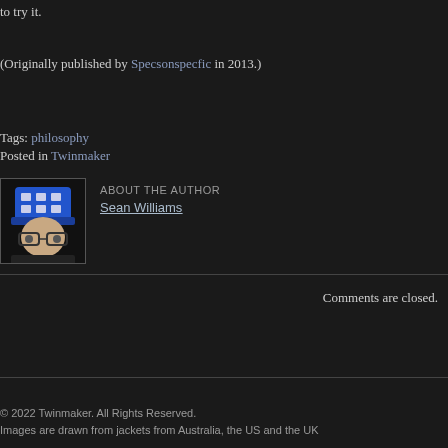to try it.
(Originally published by Specsonspecfic in 2013.)
Tags: philosophy
Posted in Twinmaker
ABOUT THE AUTHOR Sean Williams
Comments are closed.
© 2022 Twinmaker. All Rights Reserved.
Images are drawn from jackets from Australia, the US and the UK